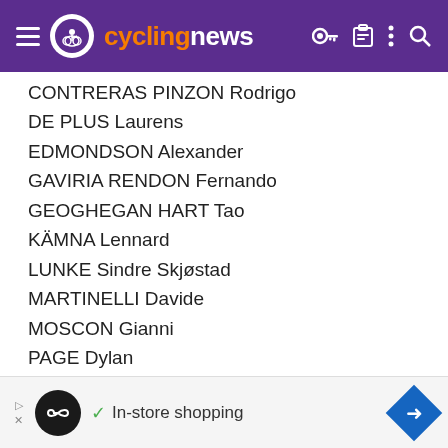cyclingnews
CONTRERAS PINZON Rodrigo
DE PLUS Laurens
EDMONDSON Alexander
GAVIRIA RENDON Fernando
GEOGHEGAN HART Tao
KÄMNA Lennard
LUNKE Sindre Skjøstad
MARTINELLI Davide
MOSCON Gianni
PAGE Dylan
PEARSON Daniel *
PEDERSEN Mads
POLITT Nils
VAN HOOYDONCK Nathan *
Togo
ARIESEN Tim
[Figure (infographic): Advertisement banner: loop infinity icon, checkmark, 'In-store shopping' text, blue diamond arrow icon]